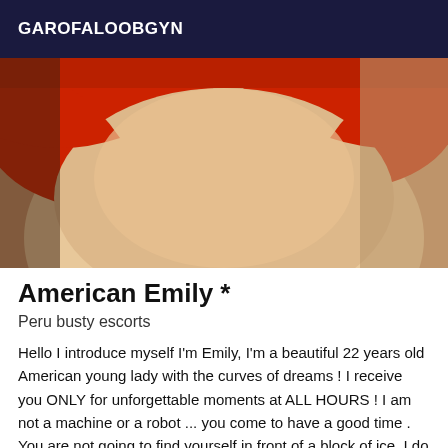GAROFALOOBGYN
[Figure (photo): Close-up photo of a person wearing a red top, cropped image showing chest/torso area with warm lighting]
American Emily *
Peru busty escorts
Hello I introduce myself I'm Emily, I'm a beautiful 22 years old American young lady with the curves of dreams ! I receive you ONLY for unforgettable moments at ALL HOURS ! I am not a machine or a robot ... you come to have a good time . You are not going to find yourself in front of a block of ice. I do my best to make